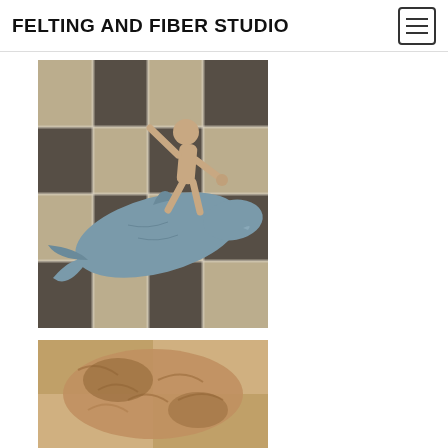FELTING AND FIBER STUDIO
[Figure (photo): Needle felted figure of a person riding a blue shark, placed on a plaid fabric background. The figure is tan/beige colored and the shark is blue-grey.]
[Figure (photo): Close-up of a needle felted animal (appears to be a feline or similar animal) in tan and brown colors, placed on fabric background. Only partially visible as it is cut off at the bottom of the page.]